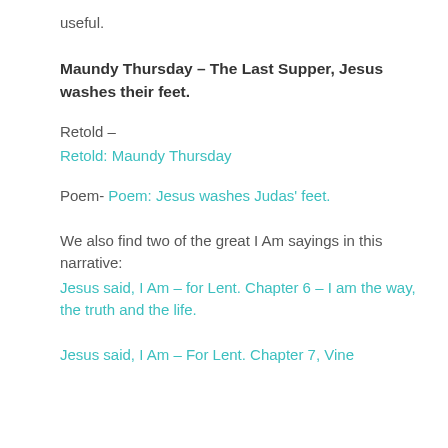useful.
Maundy Thursday – The Last Supper, Jesus washes their feet.
Retold –
Retold: Maundy Thursday
Poem- Poem: Jesus washes Judas' feet.
We also find two of the great I Am sayings in this narrative:
Jesus said, I Am – for Lent. Chapter 6 – I am the way, the truth and the life.
Jesus said, I Am – For Lent. Chapter 7, Vine